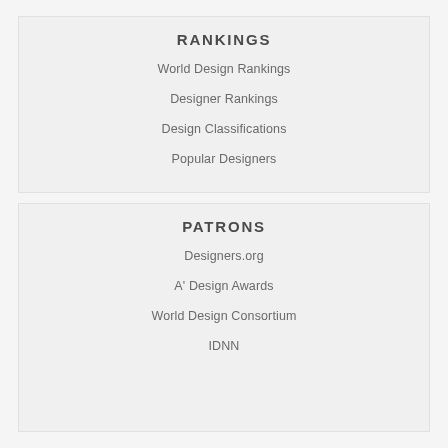RANKINGS
World Design Rankings
Designer Rankings
Design Classifications
Popular Designers
PATRONS
Designers.org
A' Design Awards
World Design Consortium
IDNN